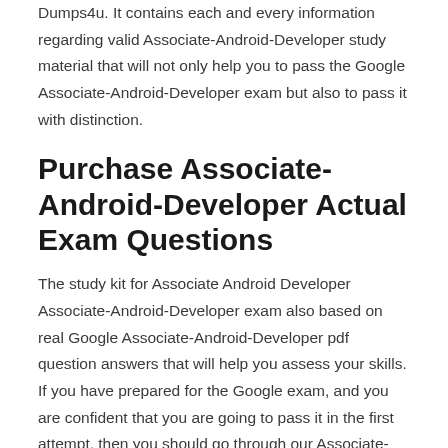Dumps4u. It contains each and every information regarding valid Associate-Android-Developer study material that will not only help you to pass the Google Associate-Android-Developer exam but also to pass it with distinction.
Purchase Associate-Android-Developer Actual Exam Questions
The study kit for Associate Android Developer Associate-Android-Developer exam also based on real Google Associate-Android-Developer pdf question answers that will help you assess your skills. If you have prepared for the Google exam, and you are confident that you are going to pass it in the first attempt, then you should go through our Associate-Android-Developer pdf questions dumps. It will help you assess